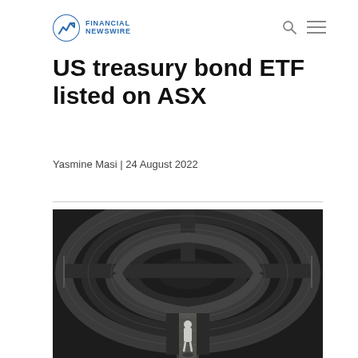FINANCIAL NEWSWIRE
US treasury bond ETF listed on ASX
Yasmine Masi | 24 August 2022
[Figure (photo): Aerial view of a circular concrete maze/labyrinth with a lone person standing at the entrance, photographed from above]